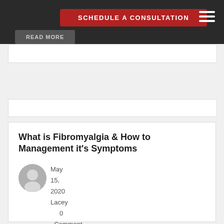SCHEDULE A CONSULTATION
[Figure (other): Navigation hamburger menu icon with three horizontal white lines on dark background]
READ MORE
What is Fibromyalgia & How to Management it's Symptoms
May 15, 2020
Lacey
0 Comment